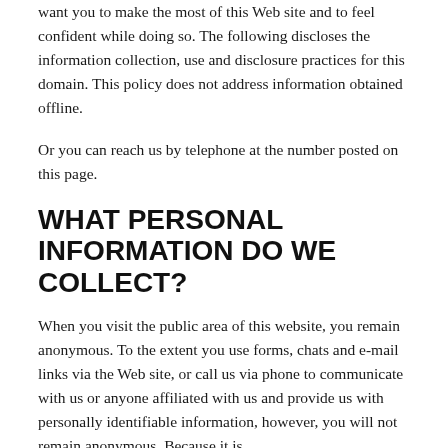want you to make the most of this Web site and to feel confident while doing so. The following discloses the information collection, use and disclosure practices for this domain. This policy does not address information obtained offline.
Or you can reach us by telephone at the number posted on this page.
WHAT PERSONAL INFORMATION DO WE COLLECT?
When you visit the public area of this website, you remain anonymous. To the extent you use forms, chats and e-mail links via the Web site, or call us via phone to communicate with us or anyone affiliated with us and provide us with personally identifiable information, however, you will not remain anonymous. Because it is